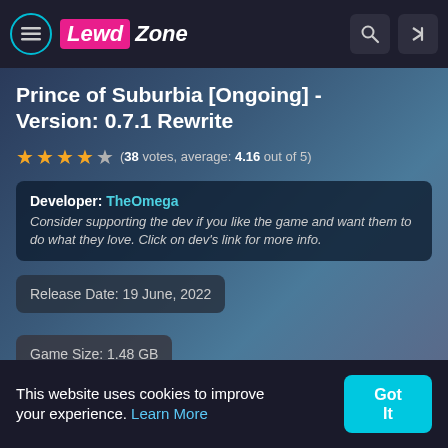Lewd Zone
Prince of Suburbia [Ongoing] - Version: 0.7.1 Rewrite
(38 votes, average: 4.16 out of 5)
Developer: TheOmega
Consider supporting the dev if you like the game and want them to do what they love. Click on dev's link for more info.
Release Date: 19 June, 2022
Game Size: 1.48 GB
This website uses cookies to improve your experience. Learn More